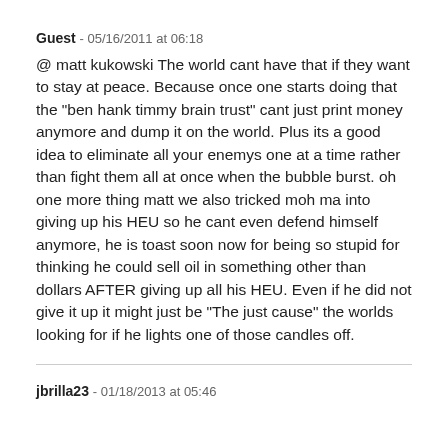Guest - 05/16/2011 at 06:18
@ matt kukowski The world cant have that if they want to stay at peace. Because once one starts doing that the "ben hank timmy brain trust" cant just print money anymore and dump it on the world. Plus its a good idea to eliminate all your enemys one at a time rather than fight them all at once when the bubble burst. oh one more thing matt we also tricked moh ma into giving up his HEU so he cant even defend himself anymore, he is toast soon now for being so stupid for thinking he could sell oil in something other than dollars AFTER giving up all his HEU. Even if he did not give it up it might just be "The just cause" the worlds looking for if he lights one of those candles off.
jbrilla23 - 01/18/2013 at 05:46